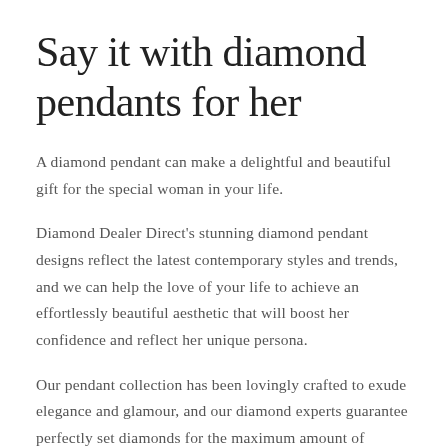Say it with diamond pendants for her
A diamond pendant can make a delightful and beautiful gift for the special woman in your life.
Diamond Dealer Direct's stunning diamond pendant designs reflect the latest contemporary styles and trends, and we can help the love of your life to achieve an effortlessly beautiful aesthetic that will boost her confidence and reflect her unique persona.
Our pendant collection has been lovingly crafted to exude elegance and glamour, and our diamond experts guarantee perfectly set diamonds for the maximum amount of sparkle.